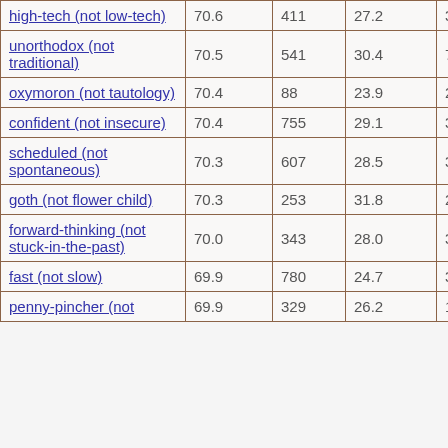| high-tech (not low-tech) | 70.6 | 411 | 27.2 | 353 |
| unorthodox (not traditional) | 70.5 | 541 | 30.4 | 79 |
| oxymoron (not tautology) | 70.4 | 88 | 23.9 | 25 |
| confident (not insecure) | 70.4 | 755 | 29.1 | 353 |
| scheduled (not spontaneous) | 70.3 | 607 | 28.5 | 375 |
| goth (not flower child) | 70.3 | 253 | 31.8 | 26 |
| forward-thinking (not stuck-in-the-past) | 70.0 | 343 | 28.0 | 33 |
| fast (not slow) | 69.9 | 780 | 24.7 | 342 |
| penny-pincher (not ... | 69.9 | 329 | 26.2 | 114 |